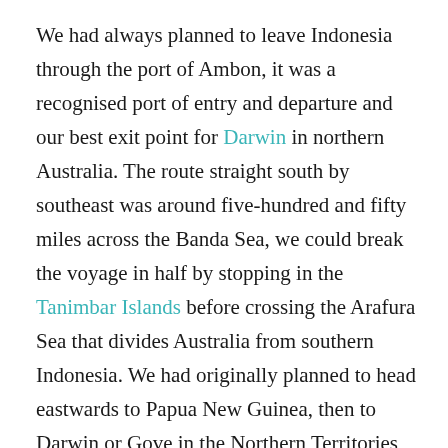We had always planned to leave Indonesia through the port of Ambon, it was a recognised port of entry and departure and our best exit point for Darwin in northern Australia. The route straight south by southeast was around five-hundred and fifty miles across the Banda Sea, we could break the voyage in half by stopping in the Tanimbar Islands before crossing the Arafura Sea that divides Australia from southern Indonesia. We had originally planned to head eastwards to Papua New Guinea, then to Darwin or Gove in the Northern Territories but by now we were running out of time. We were well into November, we were both keen to return to England for Christmas – we had an important wedding to attend – our own. Lauren & Dan decided to fly out of Ambon back to Jakarta, the capital of Indonesia located on the island of Java. So we said our goodbyes in Ambon, I